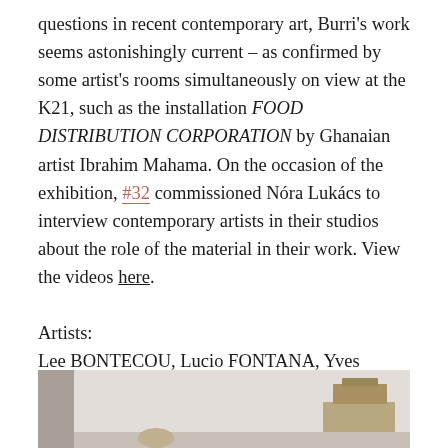questions in recent contemporary art, Burri's work seems astonishingly current – as confirmed by some artist's rooms simultaneously on view at the K21, such as the installation FOOD DISTRIBUTION CORPORATION by Ghanaian artist Ibrahim Mahama. On the occasion of the exhibition, #32 commissioned Nóra Lukács to interview contemporary artists in their studios about the role of the material in their work. View the videos here.
Artists:
Lee BONTECOU, Lucio FONTANA, Yves KLEIN, Jannis KOUNELLIS, Piero MANZONI, Mario MERZ, Robert RAUSCHENBERG, Kurt SCHWITTERS, Cy TWOMBLY
[Figure (photo): Interior gallery or room photograph showing a light-colored wall and floor with a sculptural object on the right side.]